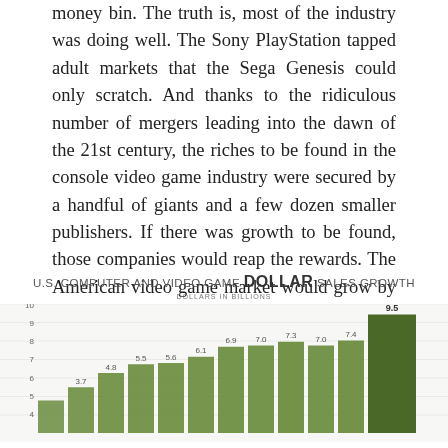money bin. The truth is, most of the industry was doing well. The Sony PlayStation tapped adult markets that the Sega Genesis could only scratch. And thanks to the ridiculous number of mergers leading into the dawn of the 21st century, the riches to be found in the console video game industry were secured by a handful of giants and a few dozen smaller publishers. If there was growth to be found, those companies would reap the rewards. The American video game market would grow by thirty percent from 2000 to 2004.
[Figure (bar-chart): U.S. Computer and Video Game DOLLAR Sales Growth]